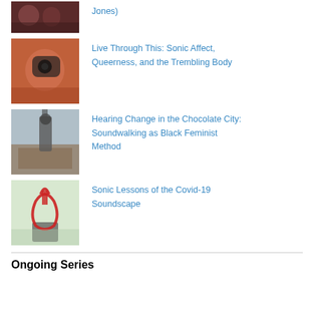[Figure (photo): Small thumbnail photo, dark reddish tones, partial view of people]
Jones)
[Figure (photo): Person in orange holding a camera up to their face]
Live Through This: Sonic Affect, Queerness, and the Trembling Body
[Figure (photo): Outdoor cityscape with a microphone or recording equipment on a rooftop]
Hearing Change in the Chocolate City: Soundwalking as Black Feminist Method
[Figure (photo): Red rope or cord tangled around a bicycle seat outdoors]
Sonic Lessons of the Covid-19 Soundscape
Ongoing Series